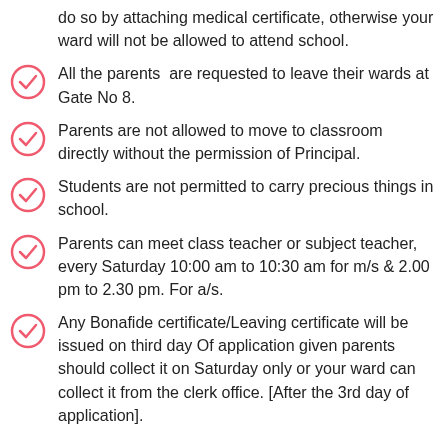do so by attaching medical certificate, otherwise your ward will not be allowed to attend school.
All the parents are requested to leave their wards at Gate No 8.
Parents are not allowed to move to classroom directly without the permission of Principal.
Students are not permitted to carry precious things in school.
Parents can meet class teacher or subject teacher, every Saturday 10:00 am to 10:30 am for m/s & 2.00 pm to 2.30 pm. For a/s.
Any Bonafide certificate/Leaving certificate will be issued on third day Of application given parents should collect it on Saturday only or your ward can collect it from the clerk office. [After the 3rd day of application].